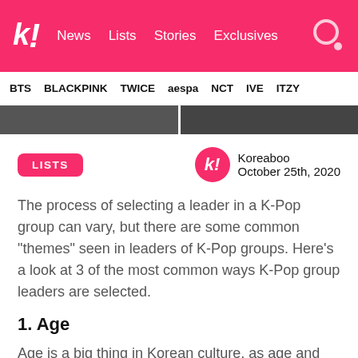k! News Lists Stories Exclusives
BTS BLACKPINK TWICE aespa NCT IVE ITZY
LISTS
Koreaboo
October 25th, 2020
The process of selecting a leader in a K-Pop group can vary, but there are some common “themes” seen in leaders of K-Pop groups. Here’s a look at 3 of the most common ways K-Pop group leaders are selected.
1. Age
Age is a big thing in Korean culture, as age and respect are greatly valued. Due to this, a lot of